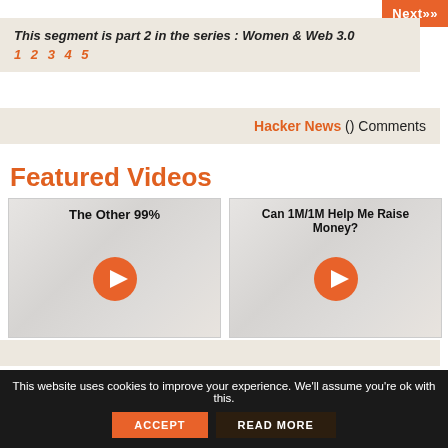Next»»
This segment is part 2 in the series : Women & Web 3.0
1 2 3 4 5
Hacker News () Comments
Featured Videos
[Figure (screenshot): Video thumbnail with play button, title: The Other 99%]
[Figure (screenshot): Video thumbnail with play button, title: Can 1M/1M Help Me Raise Money?]
This website uses cookies to improve your experience. We'll assume you're ok with this.  ACCEPT  READ MORE